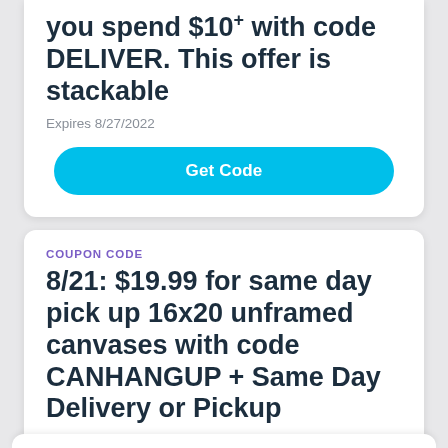you spend $10+ with code DELIVER. This offer is stackable
Expires 8/27/2022
Get Code
COUPON CODE
8/21: $19.99 for same day pick up 16x20 unframed canvases with code CANHANGUP + Same Day Delivery or Pickup
Expires 8/22/2022
Get Code